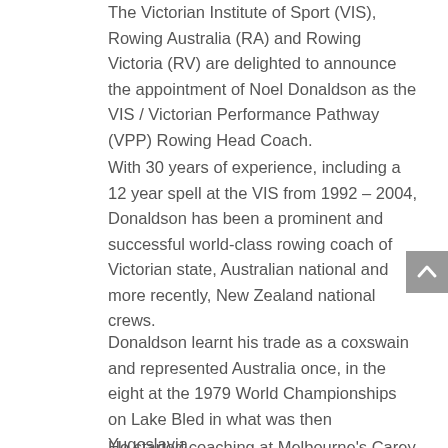The Victorian Institute of Sport (VIS), Rowing Australia (RA) and Rowing Victoria (RV) are delighted to announce the appointment of Noel Donaldson as the VIS / Victorian Performance Pathway (VPP) Rowing Head Coach.
With 30 years of experience, including a 12 year spell at the VIS from 1992 – 2004, Donaldson has been a prominent and successful world-class rowing coach of Victorian state, Australian national and more recently, New Zealand national crews.
Donaldson learnt his trade as a coxswain and represented Australia once, in the eight at the 1979 World Championships on Lake Bled in what was then Yugoslavia.
He started coaching at Melbourne's Carey Baptist Grammar School in the 1980s and progressed to become one of rowing's most successful coaches, responsible for masterminding some of Australia's